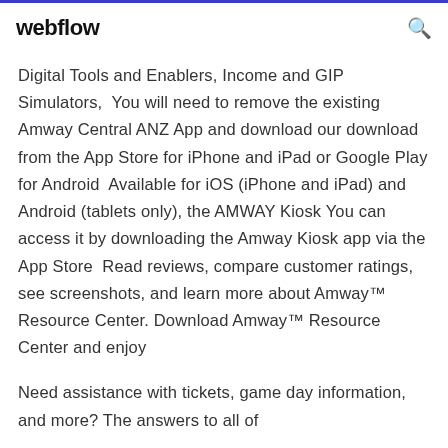webflow
Digital Tools and Enablers, Income and GIP Simulators,  You will need to remove the existing Amway Central ANZ App and download our download from the App Store for iPhone and iPad or Google Play for Android  Available for iOS (iPhone and iPad) and Android (tablets only), the AMWAY Kiosk You can access it by downloading the Amway Kiosk app via the App Store  Read reviews, compare customer ratings, see screenshots, and learn more about Amway™ Resource Center. Download Amway™ Resource Center and enjoy
Need assistance with tickets, game day information, and more? The answers to all of